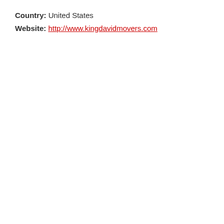Country: United States
Website: http://www.kingdavidmovers.com